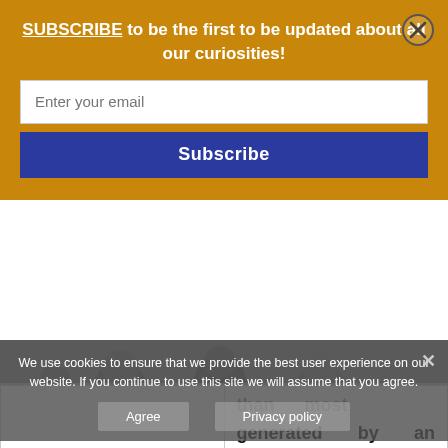SUBSCRIBE to be the first to be updated about all our curiosities!
Enter your email
Subscribe
|  | generated by an aeroplane taking off |
We use cookies to ensure that we provide the best user experience on our website. If you continue to use this site we will assume that you agree.
Agree
Privacy policy